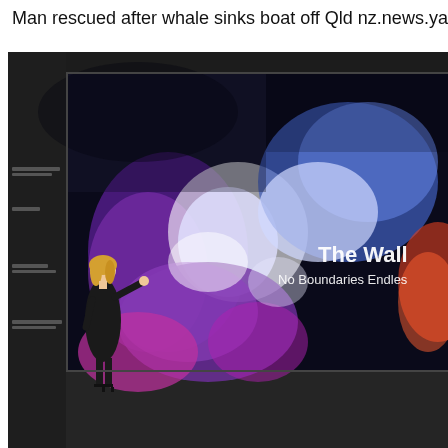Man rescued after whale sinks boat off Qld nz.news.ya
[Figure (photo): A blonde woman in a black dress stands next to and points to a massive Samsung 'The Wall' MicroLED display showing a nebula/galaxy image with purple, blue, white and red cosmic clouds. The display shows text 'The Wall' and 'No Boundaries Endless'. The display is mounted in a dark exhibition room. The woman is wearing high heels and stands to the left of the enormous screen which dwarfs her in size.]